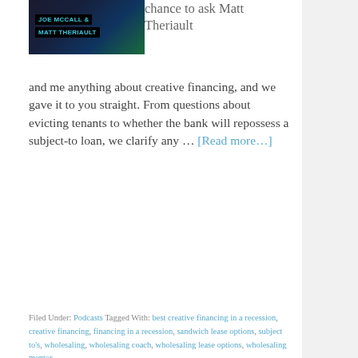[Figure (photo): Podcast thumbnail image with dark background showing names JOE MCCALL & MATT THERIAULT in teal/white text on black label bars]
chance to ask Matt Theriault and me anything about creative financing, and we gave it to you straight. From questions about evicting tenants to whether the bank will repossess a subject-to loan, we clarify any … [Read more...]
Filed Under: Podcasts Tagged With: best creative financing in a recession, creative financing, financing in a recession, sandwich lease options, subject to's, wholesaling, wholesaling coach, wholesaling lease options, wholesaling mentor